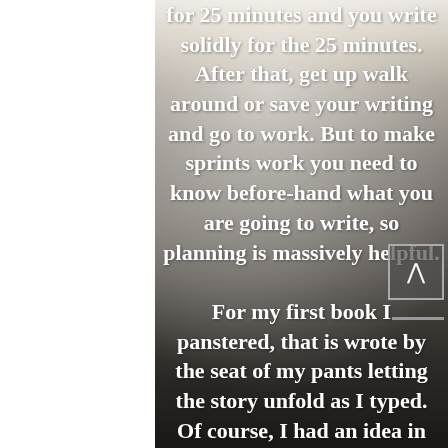for 25 minutes and you write solidly for the 25 minutes. After that, get up walk around or save your writing and go to work. But to make sprints work you need to know before-hand what you are going to write, so planning is massively helpful.

For my first book I panstered, that is wrote by the seat of my pants letting the story unfold as I typed. Of course, I had an idea in my head but nothing was written down.